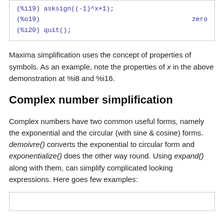(%i19) asksign((-1)^x+1);
(%o19)                                         zero
(%i20) quit();
Maxima simplification uses the concept of properties of symbols. As an example, note the properties of x in the above demonstration at %i8 and %i16.
Complex number simplification
Complex numbers have two common useful forms, namely the exponential and the circular (with sine & cosine) forms. demoivre() converts the exponential to circular form and exponentialize() does the other way round. Using expand() along with them, can simplify complicated looking expressions. Here goes few examples: